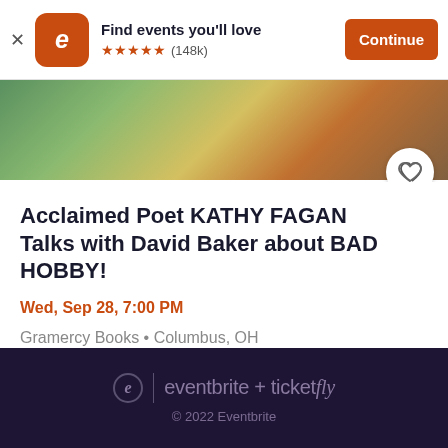Find events you'll love ★★★★★ (148k) Continue
[Figure (photo): Eventbrite app banner with logo icon, star rating, and Continue button]
[Figure (photo): Event banner image showing colorful floral/nature artwork]
Acclaimed Poet KATHY FAGAN Talks with David Baker about BAD HOBBY!
Wed, Sep 28, 7:00 PM
Gramercy Books • Columbus, OH
$5 - $18
eventbrite + ticketfly © 2022 Eventbrite